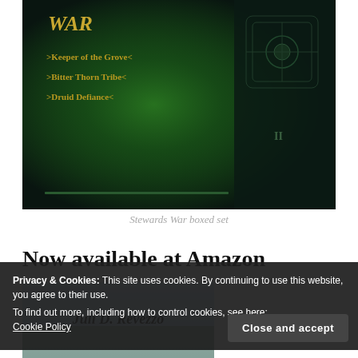[Figure (photo): Book cover image of 'Stewards War' boxed set showing dark fantasy artwork with green glowing elements and text: 'Keeper of the Grove', 'Bitter Thorn Tribe', 'Druid Defiance']
Stewards War boxed set
Now available at Amazon
[Figure (photo): Partial book cover showing author name 'Juli D. Revezzo' with fantasy artwork]
Privacy & Cookies: This site uses cookies. By continuing to use this website, you agree to their use.
To find out more, including how to control cookies, see here:
Cookie Policy
Close and accept